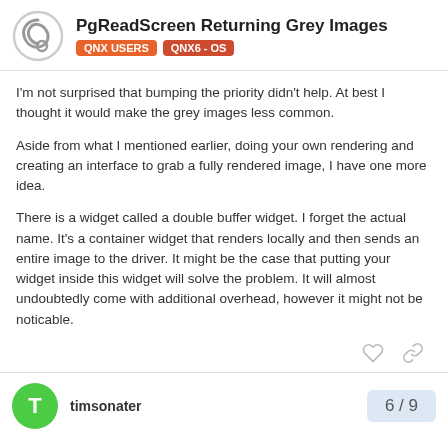PgReadScreen Returning Grey Images — QNX USERS | QNX6 - OS
I'm not surprised that bumping the priority didn't help. At best I thought it would make the grey images less common.
Aside from what I mentioned earlier, doing your own rendering and creating an interface to grab a fully rendered image, I have one more idea.
There is a widget called a double buffer widget. I forget the actual name. It's a container widget that renders locally and then sends an entire image to the driver. It might be the case that putting your widget inside this widget will solve the problem. It will almost undoubtedly come with additional overhead, however it might not be noticable.
timsonater
6 / 9